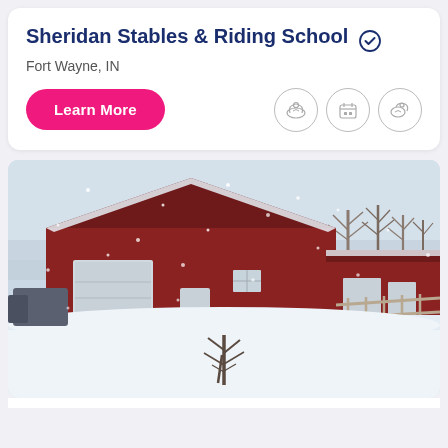Sheridan Stables & Riding School
Fort Wayne, IN
[Figure (illustration): Pink 'Learn More' button and three circular icons with equestrian activity illustrations]
[Figure (photo): Red barn and stable buildings covered in snow during a snowstorm, with a wooden fence and bare trees in the background, Fort Wayne IN]